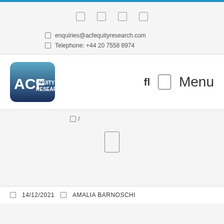ACF Equity Research website header with navigation icons
enquiries@acfequityresearch.com
Telephone: +44 20 7558 8974
[Figure (logo): ACF Equity Research logo — rounded rectangle with gradient blue-to-dark-blue background, white text 'ACF' large and 'EQUITY RESEARCH' smaller on the right]
fl Menu
/
14/12/2021  AMALIA BARNOSCHI